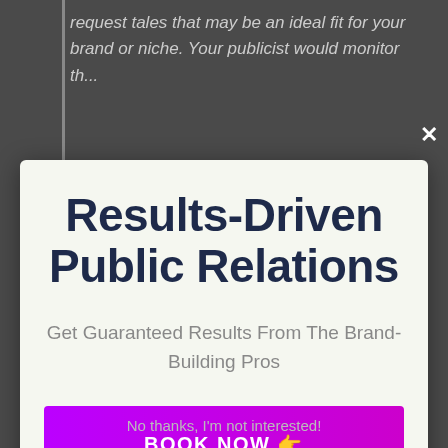request tales that may be an ideal fit for your brand or niche. Your publicist would monitor th...
Results-Driven Public Relations
Get Guaranteed Results From The Brand-Building Pros
BOOK NOW 👉
No thanks, I'm not interested!
in our globe, this is an excellent resource, but we constantly want to see to it your promotion is earned if possible.